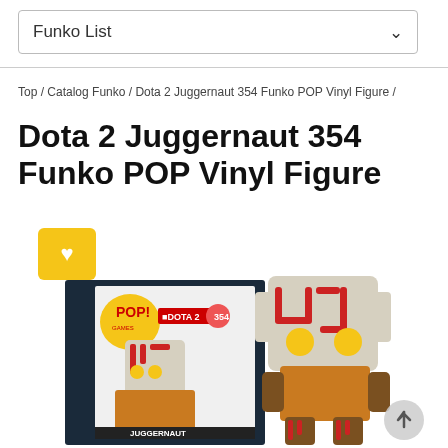Funko List
Top / Catalog Funko / Dota 2 Juggernaut 354 Funko POP Vinyl Figure /
Dota 2 Juggernaut 354 Funko POP Vinyl Figure
[Figure (photo): Yellow heart/favorite button (yellow square with white heart icon), Funko POP Dota 2 Juggernaut #354 product box and vinyl figure shown side by side. The box shows POP! Games branding with DOTA 2 logo and number 354. The figure depicts Juggernaut character with white/grey mask with red markings and glowing yellow eyes, wearing orange and brown armor.]